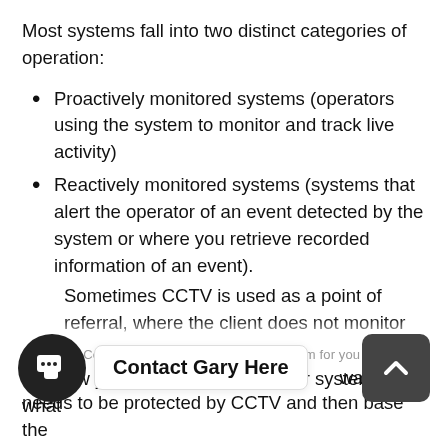Most systems fall into two distinct categories of operation:
Proactively monitored systems (operators using the system to monitor and track live activity)
Reactively monitored systems (systems that alert the operator of an event detected by the system or where you retrieve recorded information of an event).
Sometimes CCTV is used as a point of referral, where the client does not monitor the system and only uses CCTV when an incident has been reported.
This is often due to staffing arrangements.
Customer Consultation to provide the best system for you
ask how you intend to operate your system and what needs to be protected by CCTV and then base the